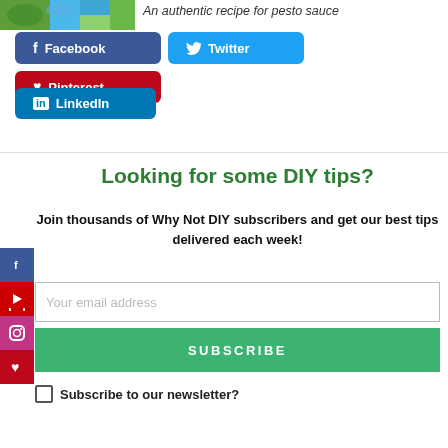[Figure (photo): Partial view of pesto sauce dish image at top left]
An authentic recipe for pesto sauce
[Figure (infographic): Social share buttons: Facebook, Twitter, Pinterest, LinkedIn]
[Figure (infographic): Side social icons: Facebook, YouTube, Instagram, Pinterest]
Looking for some DIY tips?
Join thousands of Why Not DIY subscribers and get our best tips delivered each week!
Your email address
SUBSCRIBE
Subscribe to our newsletter?